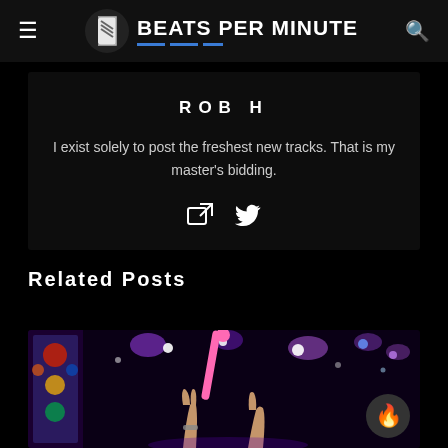BEATS PER MINUTE
ROB H
I exist solely to post the freshest new tracks. That is my master's bidding.
Related Posts
[Figure (photo): Concert scene with pink drumstick or baton raised, colorful stage lights in purple and white, hands reaching up, dark background with decorative artwork on left side]